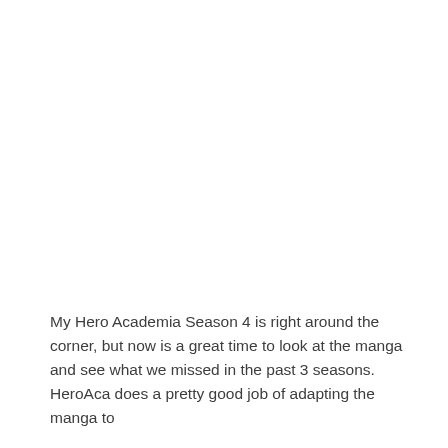My Hero Academia Season 4 is right around the corner, but now is a great time to look at the manga and see what we missed in the past 3 seasons. HeroAca does a pretty good job of adapting the manga to